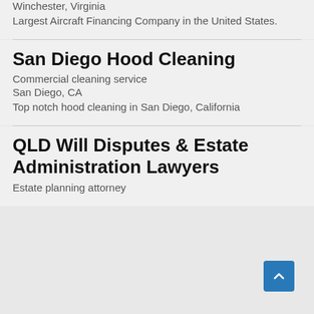Winchester, Virginia
Largest Aircraft Financing Company in the United States.
San Diego Hood Cleaning
Commercial cleaning service
San Diego, CA
Top notch hood cleaning in San Diego, California
QLD Will Disputes & Estate Administration Lawyers
Estate planning attorney